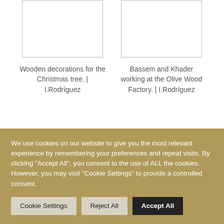[Figure (photo): Placeholder image box on left side (wooden decorations)]
Wooden decorations for the Christmas tree. | I.Rodríguez
[Figure (photo): Placeholder image box on right side (Bassem and Khader at Olive Wood Factory)]
Bassem and Khader working at the Olive Wood Factory. | I.Rodríguez
SHARE THIS:
We use cookies on our website to give you the most relevant experience by remembering your preferences and repeat visits. By clicking "Accept All", you consent to the use of ALL the cookies. However, you may visit "Cookie Settings" to provide a controlled consent.
Cookie Settings | Reject All | Accept All